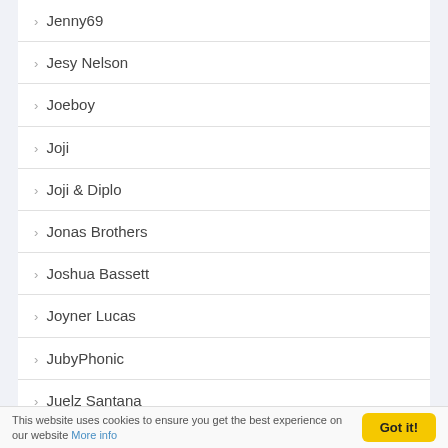Jenny69
Jesy Nelson
Joeboy
Joji
Joji & Diplo
Jonas Brothers
Joshua Bassett
Joyner Lucas
JubyPhonic
Juelz Santana
Juice WRLD
Juju
This website uses cookies to ensure you get the best experience on our website More info